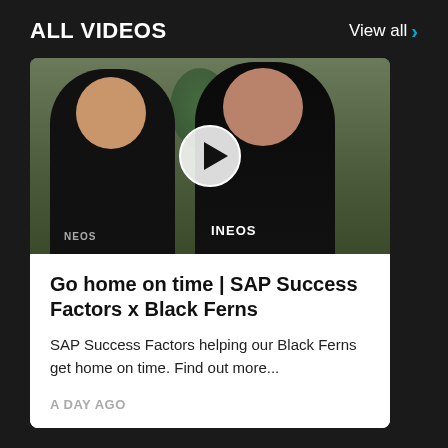ALL VIDEOS
View all >
[Figure (photo): Two women wearing black All Blacks / INEOS rugby jerseys sitting at computers in an office. A white circular play button overlay is centered on the image.]
Go home on time | SAP Success Factors x Black Ferns
SAP Success Factors helping our Black Ferns get home on time. Find out more...
A DAY AGO